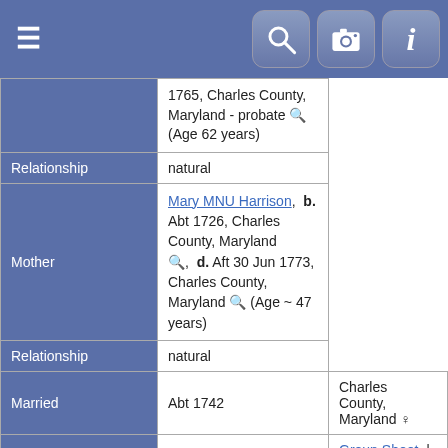| (partial row) 1765, Charles County, Maryland - probate (Age 62 years) |  |
| Relationship | natural |
| Mother | Mary MNU Harrison,  b. Abt 1726, Charles County, Maryland,  d. Aft 30 Jun 1773, Charles County, Maryland  (Age ~ 47 years) |
| Relationship | natural |
| Married | Abt 1742 | Charles County, Maryland |
| Family ID | F1293 | Group Sheet  |  Family Chart |
| Notes |
| --- |
| ===
Contributed by Shirley Middleton Moller

Charles County, Wills, 1780-1791, page 86
Page 60. Capt. Joseph H. Harrison's Will. [Faded parts]
I, Joseph Hanson Harrison, of CC, am of sound mind and memory. Firstly, I want all my just debts paid.
To my daughter Dorothy - all my real estate.
To my daughter Mary Hutcheson - 1 walnut coaufat [?] and 1 large gilt looking glass [both now at |